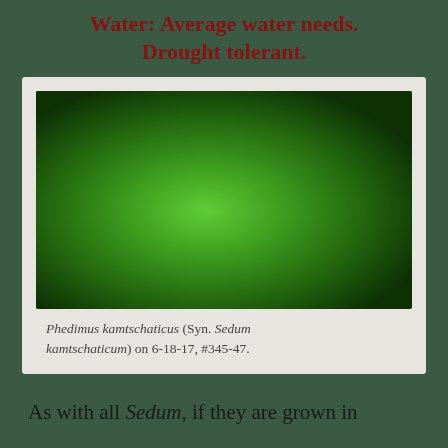Water: Average water needs. Drought tolerant.
[Figure (photo): Photograph of Phedimus kamtschaticus (Syn. Sedum kamtschaticum) plant with bright green succulent foliage among rocks, with small orange flower visible at bottom, taken on 6-18-17, #345-47.]
Phedimus kamtschaticus (Syn. Sedum kamtschaticum) on 6-18-17, #345-47.
As with all Sedum, if they are grown in